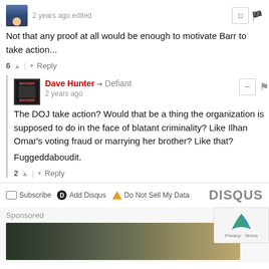2 years ago edited
Not that any proof at all would be enough to motivate Barr to take action...
6 | Reply
Dave Hunter → Defiant
2 years ago
The DOJ take action? Would that be a thing the organization is supposed to do in the face of blatant criminality? Like Ilhan Omar's voting fraud or marrying her brother? Like that?

Fuggeddaboudit.
2 | Reply
Subscribe  Add Disqus  Do Not Sell My Data    DISQUS
Sponsored